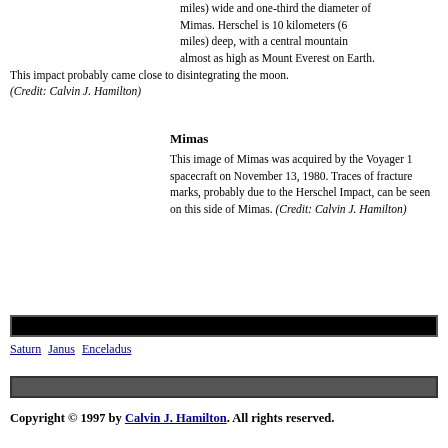miles) wide and one-third the diameter of Mimas. Herschel is 10 kilometers (6 miles) deep, with a central mountain almost as high as Mount Everest on Earth. This impact probably came close to disintegrating the moon. (Credit: Calvin J. Hamilton)
Mimas
This image of Mimas was acquired by the Voyager 1 spacecraft on November 13, 1980. Traces of fracture marks, probably due to the Herschel Impact, can be seen on this side of Mimas. (Credit: Calvin J. Hamilton)
[Figure (other): Black navigation bar]
Saturn  Janus  Enceladus
[Figure (other): Dark gray navigation bar]
Copyright © 1997 by Calvin J. Hamilton. All rights reserved.